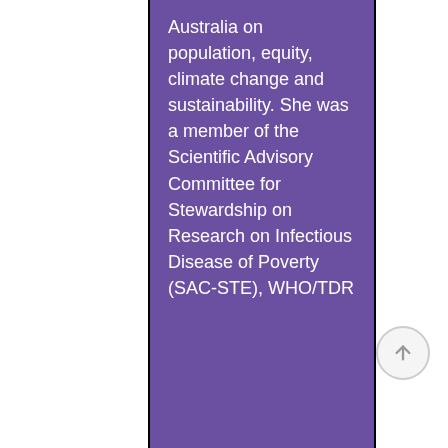Australia on population, equity, climate change and sustainability. She was a member of the Scientific Advisory Committee for Stewardship on Research on Infectious Disease of Poverty (SAC-STE), WHO/TDR